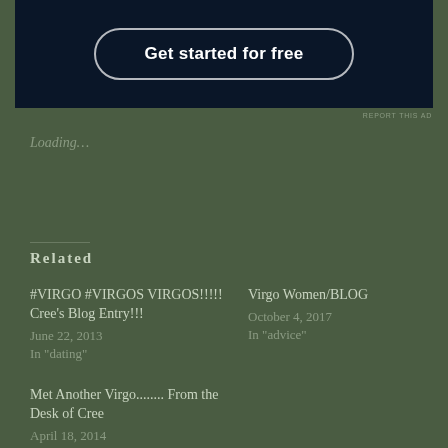[Figure (other): Advertisement banner with dark navy background and 'Get started for free' button with rounded border]
REPORT THIS AD
Loading...
Related
#VIRGO #VIRGOS VIRGOS!!!!! Cree's Blog Entry!!!
June 22, 2013
In "dating"
Virgo Women/BLOG
October 4, 2017
In "advice"
Met Another Virgo........ From the Desk of Cree
April 18, 2014
In "angry"